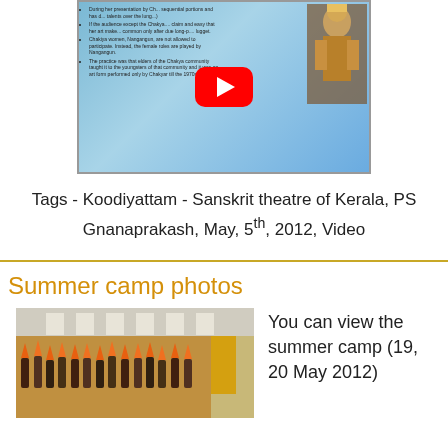[Figure (screenshot): YouTube video thumbnail showing a presentation slide about Koodiyattam with a costumed performer on the right side and a red YouTube play button overlay]
Tags - Koodiyattam - Sanskrit theatre of Kerala, PS Gnanaprakash, May, 5th, 2012, Video
Summer camp photos
[Figure (photo): Photo of a summer camp gathering showing a large group of people in a hall holding orange flags or decorations]
You can view the summer camp (19, 20 May 2012)